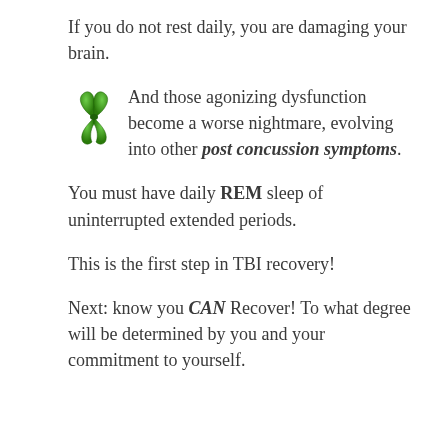If you do not rest daily, you are damaging your brain.
And those agonizing dysfunction become a worse nightmare, evolving into other post concussion symptoms.
You must have daily REM sleep of uninterrupted extended periods.
This is the first step in TBI recovery!
Next: know you CAN Recover! To what degree will be determined by you and your commitment to yourself.